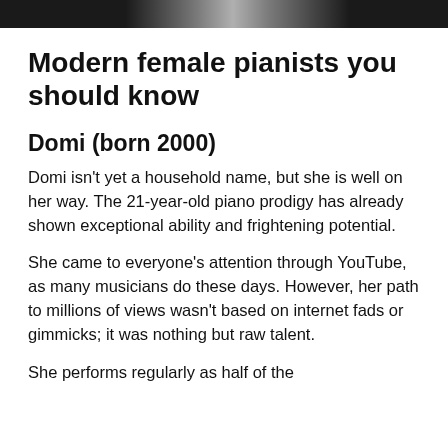[header image bar]
Modern female pianists you should know
Domi (born 2000)
Domi isn't yet a household name, but she is well on her way. The 21-year-old piano prodigy has already shown exceptional ability and frightening potential.
She came to everyone's attention through YouTube, as many musicians do these days. However, her path to millions of views wasn't based on internet fads or gimmicks; it was nothing but raw talent.
She performs regularly as half of the